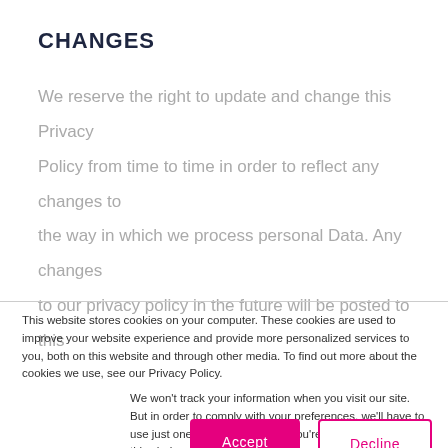CHANGES
We reserve the right to update and change this Privacy Policy from time to time in order to reflect any changes to the way in which we process personal Data. Any changes to our privacy policy in the future will be posted to this
This website stores cookies on your computer. These cookies are used to improve your website experience and provide more personalized services to you, both on this website and through other media. To find out more about the cookies we use, see our Privacy Policy.
We won't track your information when you visit our site. But in order to comply with your preferences, we'll have to use just one tiny cookie so that you're not asked to make this choice again.